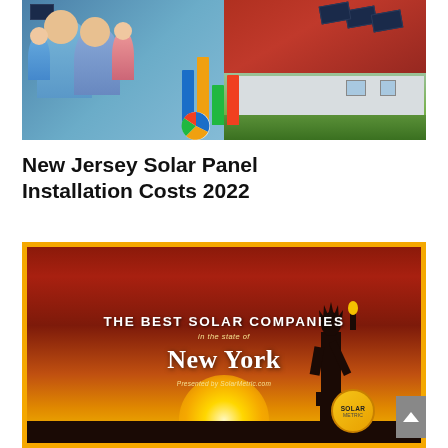[Figure (photo): Composite photo: A family (man, woman, two children) in the foreground on the left, with a house with solar panels on the roof on the right, and bar chart and pie chart graphics in the center/middle area.]
New Jersey Solar Panel Installation Costs 2022
[Figure (infographic): Infographic card with orange/yellow border. Interior shows a sunset background with silhouette of the Statue of Liberty. Text reads: THE BEST SOLAR COMPANIES / in the state of / NEW YORK / Presented by SolarMetric.com. SolarMetric logo badge in bottom right. Scroll arrow button on right edge.]